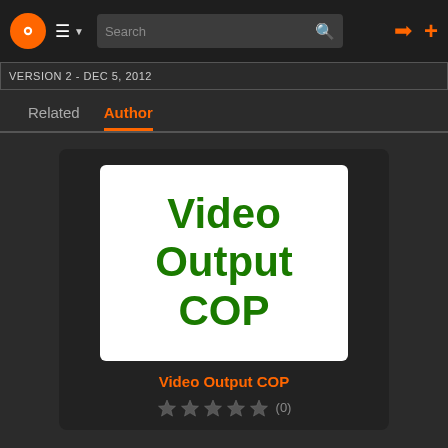Navigation bar with logo, menu, search, login and add buttons
VERSION 2 - DEC 5, 2012
Related  Author
[Figure (screenshot): Card showing 'Video Output COP' with white thumbnail background and green text]
Video Output COP
(0)